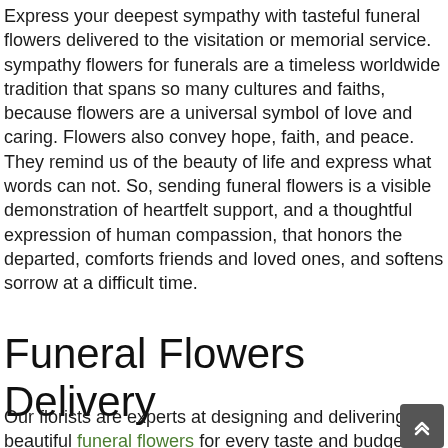Express your deepest sympathy with tasteful funeral flowers delivered to the visitation or memorial service. sympathy flowers for funerals are a timeless worldwide tradition that spans so many cultures and faiths, because flowers are a universal symbol of love and caring. Flowers also convey hope, faith, and peace. They remind us of the beauty of life and express what words can not. So, sending funeral flowers is a visible demonstration of heartfelt support, and a thoughtful expression of human compassion, that honors the departed, comforts friends and loved ones, and softens sorrow at a difficult time.
Funeral Flowers Delivery
Our florists are experts at designing and delivering beautiful funeral flowers for every taste and budget.